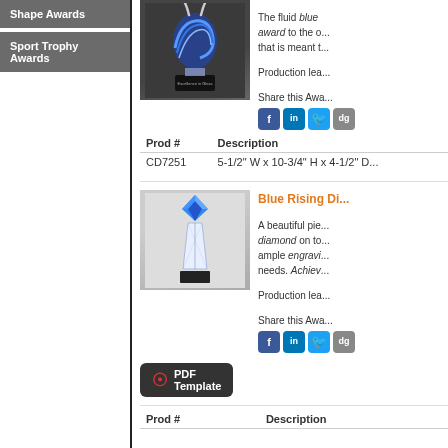Shape Awards
Sport Trophy Awards
[Figure (photo): Blue swirl glass award trophy on black base]
The fluid blue award to the other that is meant to
Production lea
Share this Awa
| Prod # | Description |
| --- | --- |
| CD7251 | 5-1/2" W x 10-3/4" H x 4-1/2" D |
[Figure (photo): Blue Rising Diamond award - clear crystal trophy with blue diamond on top on black base]
Blue Rising Di
A beautiful pie diamond on to ample engravi needs. Achiev
Production lea
Share this Awa
[Figure (other): PDF Template button]
| Prod # | Description |
| --- | --- |